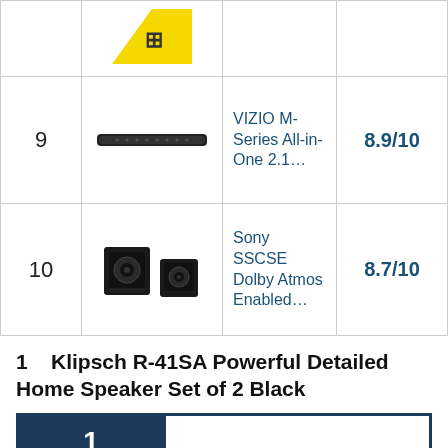| Rank | Image | Product | Score |
| --- | --- | --- | --- |
| 9 | [soundbar image] | VIZIO M-Series All-in-One 2.1... | 8.9/10 |
| 10 | [speakers image] | Sony SSCSE Dolby Atmos Enabled... | 8.7/10 |
1   Klipsch R-41SA Powerful Detailed Home Speaker Set of 2 Black
[Figure (other): Rank badge showing '1' in dark navy box with bordered content area below, and a blue scroll-to-top arrow button in bottom right]